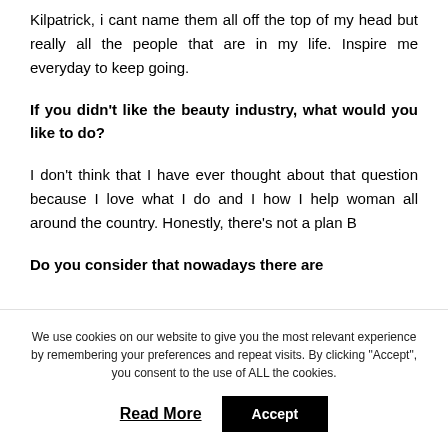Kilpatrick, i cant name them all off the top of my head but really all the people that are in my life. Inspire me everyday to keep going.
If you didn't like the beauty industry, what would you like to do?
I don't think that I have ever thought about that question because I love what I do and I how I help woman all around the country. Honestly, there's not a plan B
Do you consider that nowadays there are
We use cookies on our website to give you the most relevant experience by remembering your preferences and repeat visits. By clicking "Accept", you consent to the use of ALL the cookies.
Read More
Accept